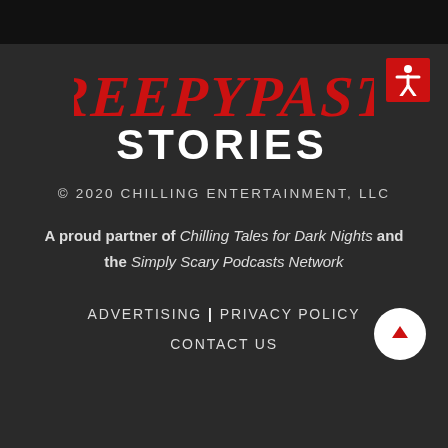[Figure (logo): Creepypasta Stories logo: 'CREEPYPASTA' in red dripping horror font above 'STORIES' in bold white block letters, with a red accessibility icon in top right corner]
© 2020 CHILLING ENTERTAINMENT, LLC
A proud partner of Chilling Tales for Dark Nights and the Simply Scary Podcasts Network
ADVERTISING | PRIVACY POLICY
CONTACT US